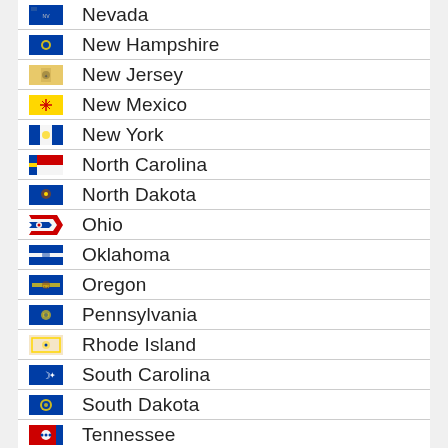Nevada
New Hampshire
New Jersey
New Mexico
New York
North Carolina
North Dakota
Ohio
Oklahoma
Oregon
Pennsylvania
Rhode Island
South Carolina
South Dakota
Tennessee